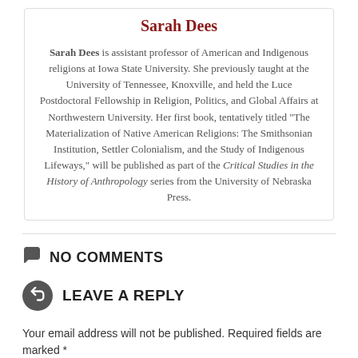Sarah Dees
Sarah Dees is assistant professor of American and Indigenous religions at Iowa State University. She previously taught at the University of Tennessee, Knoxville, and held the Luce Postdoctoral Fellowship in Religion, Politics, and Global Affairs at Northwestern University. Her first book, tentatively titled “The Materialization of Native American Religions: The Smithsonian Institution, Settler Colonialism, and the Study of Indigenous Lifeways,” will be published as part of the Critical Studies in the History of Anthropology series from the University of Nebraska Press.
NO COMMENTS
LEAVE A REPLY
Your email address will not be published. Required fields are marked *